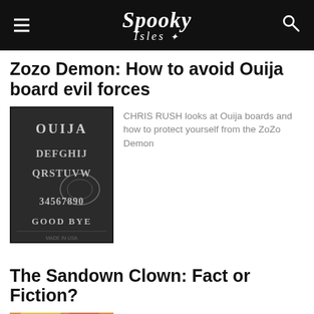Spooky Isles
Zozo Demon: How to avoid Ouija board evil forces
[Figure (photo): Close-up photo of a Ouija board showing letters DEFGHIJ, QRSTUVW, numbers 3456789, and GOOD BYE text]
CHRIS RUSH looks at Ouija boards and how to protect yourself from the ZoZo Demon
The Sandown Clown: Fact or Fiction?
[Figure (photo): Colorful psychedelic illustration of a clown figure with bright colors including red, yellow, green]
LES HEWITT looks back on a strange urban legend, The Sandown Clown of 1973, an unsolved mystery from the Isle of Wight in Southern England